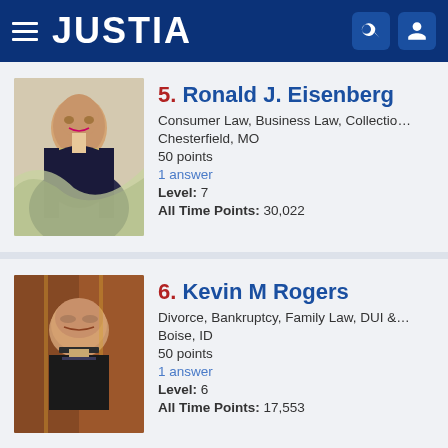JUSTIA
5. Ronald J. Eisenberg
Consumer Law, Business Law, Collections, Lan...
Chesterfield, MO
50 points
1 answer
Level: 7
All Time Points: 30,022
6. Kevin M Rogers
Divorce, Bankruptcy, Family Law, DUI & DWI, D...
Boise, ID
50 points
1 answer
Level: 6
All Time Points: 17,553